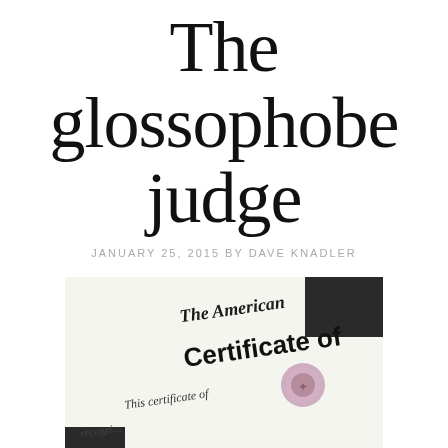The glossophobe judge
JANUARY 25, 2015 BY DAVE KNADLER
[Figure (photo): Close-up photograph of an American certificate document showing decorative script 'The American...' header, bold text 'Certificate of...' and italic text 'This certificate of...' with a circular seal/emblem visible, on a white background with dark border.]